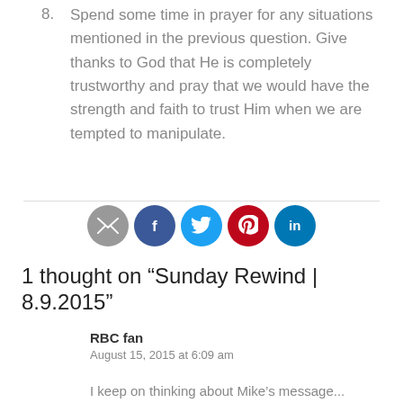8. Spend some time in prayer for any situations mentioned in the previous question. Give thanks to God that He is completely trustworthy and pray that we would have the strength and faith to trust Him when we are tempted to manipulate.
[Figure (other): Social sharing icons: email (gray), Facebook (dark blue), Twitter (blue), Pinterest (red), LinkedIn (blue)]
1 thought on “Sunday Rewind | 8.9.2015”
RBC fan
August 15, 2015 at 6:09 am
I keep on thinking about Mike’s message...